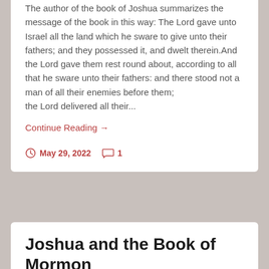The author of the book of Joshua summarizes the message of the book in this way: The Lord gave unto Israel all the land which he sware to give unto their fathers; and they possessed it, and dwelt therein.And the Lord gave them rest round about, according to all that he sware unto their fathers: and there stood not a man of all their enemies before them; the Lord delivered all their...
Continue Reading →
May 29, 2022   1
Joshua and the Book of Mormon